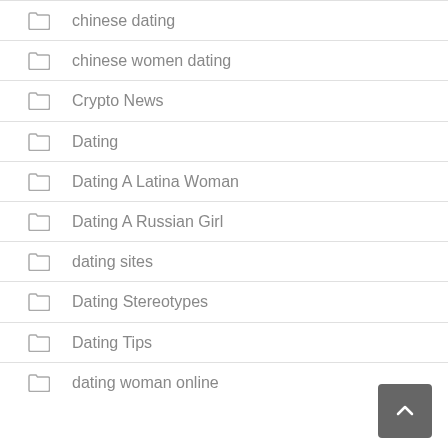chinese dating
chinese women dating
Crypto News
Dating
Dating A Latina Woman
Dating A Russian Girl
dating sites
Dating Stereotypes
Dating Tips
dating woman online